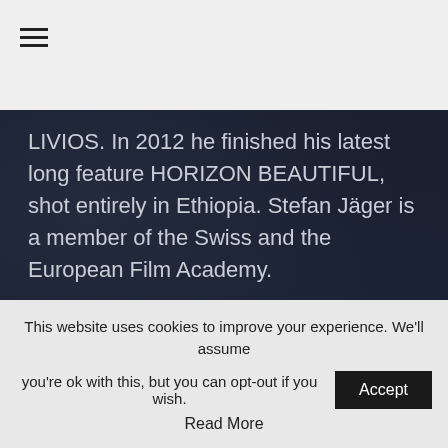☰
LIVIOS. In 2012 he finished his latest long feature HORIZON BEAUTIFUL, shot entirely in Ethiopia. Stefan Jäger is a member of the Swiss and the European Film Academy.
[Figure (photo): Black and white portrait photo of a middle-aged man with short grey hair and glasses, looking at the camera, with diagonal lines (wood slats) behind him.]
This website uses cookies to improve your experience. We'll assume you're ok with this, but you can opt-out if you wish. Accept Read More